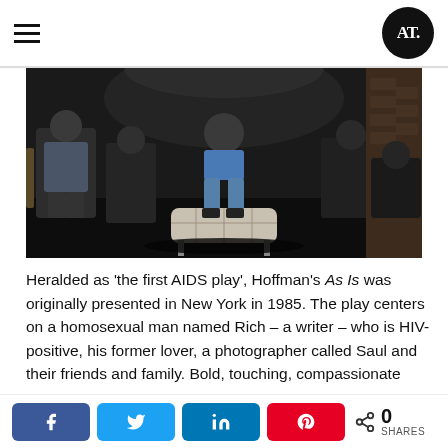AT (logo)
[Figure (photo): Dark theatrical photo of people seated on stage, one person in center on a white tufted bench/ottoman in jeans, others seated around on chairs in a dark performance space with brick wall visible on right]
Heralded as 'the first AIDS play', Hoffman's As Is was originally presented in New York in 1985. The play centers on a homosexual man named Rich – a writer – who is HIV-positive, his former lover, a photographer called Saul and their friends and family. Bold, touching, compassionate and humorous, As Is faces death squarely, tackling tired stigmas with verity and wit. Throughout the play characters cracked jokes while Rich, and many others like him, were in the process of expiring.